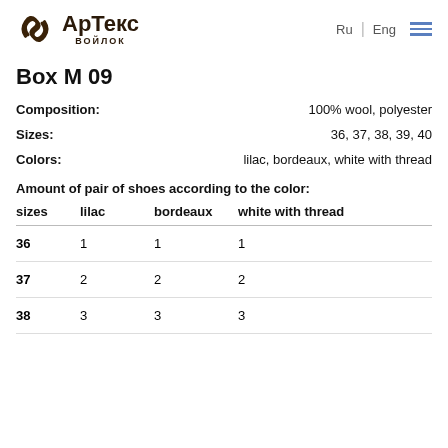АрТекс войлок — Ru | Eng
Box M 09
Composition: 100% wool, polyester
Sizes: 36, 37, 38, 39, 40
Colors: lilac, bordeaux, white with thread
Amount of pair of shoes according to the color:
| sizes | lilac | bordeaux | white with thread |
| --- | --- | --- | --- |
| 36 | 1 | 1 | 1 |
| 37 | 2 | 2 | 2 |
| 38 | 3 | 3 | 3 |